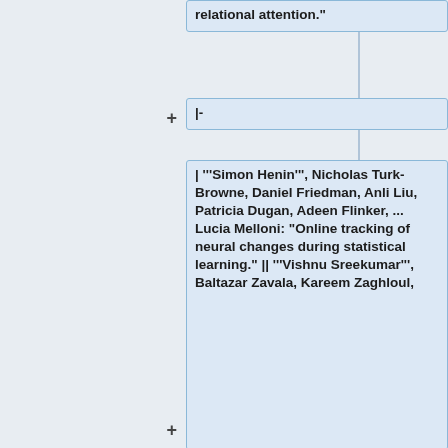relational attention."
|-
| '''Simon Henin''', Nicholas Turk-Browne, Daniel Friedman, Anli Liu, Patricia Dugan, Adeen Flinker, ... Lucia Melloni: "Online tracking of neural changes during statistical learning." || '''Vishnu Sreekumar''', Baltazar Zavala, Kareem Zaghloul,